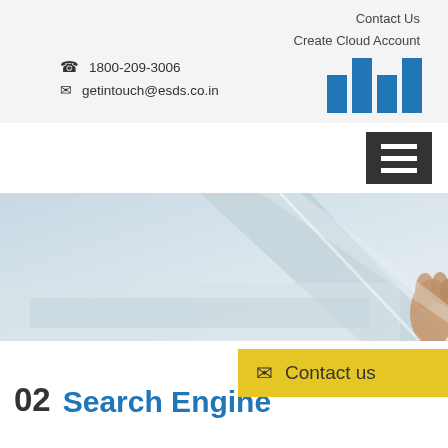Contact Us
Create Cloud Account
1800-209-3006
getintouch@esds.co.in
[Figure (other): Blue vertical bar chart icon with 4 bars of varying heights]
[Figure (other): Hamburger menu icon (three horizontal white lines on dark background)]
[Figure (photo): Photo of a laptop/keyboard scene in cool blue-grey tones with a hand visible at the right edge]
[Figure (other): Yellow Contact us button with envelope icon]
02  Search Engine